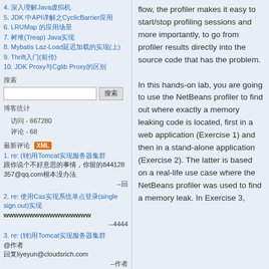4. 深入理解Java虚拟机
5. JDK 中API详解之CyclicBarrier应用
6. LRUMap 的应用场景
7. 树堆(Treap) Java实现
8. Mybatis Laz-Load延迟加载的实现(上)
9. Thrift入门(前传)
10. JDK Proxy与Cglib Proxy的区别
搜索
博客统计
访问 - 667280
评论 - 68
最新评论 XML
1. re: (转)用Tomcat实现服务器集群 8844128357@qq.com回复
2. re: 使用Cas实现系统单点登录(single sign out)实现 wwwwwwwwwwwwwwwww --4444
3. re: (转)用Tomcat实现服务器集群 @作者 回复liyeyun@cloudsrich.com --作者
4. re: (转)用Tomcat实现服务器集群 查了一下server的配置，重新配置了一次，错误改变了 --作者
5. re: Quartz CronTrigger定时任务 上面说的thx！ --zhenkui
6. re: Spring Integration 笔记 回复内容 1439226817@qq.com，回
flow, the profiler makes it easy to start/stop profiling sessions and more importantly, to go from profiler results directly into the source code that has the problem.

In this hands-on lab, you are going to use the NetBeans profiler to find out where exactly a memory leaking code is located, first in a web application (Exercise 1) and then in a stand-alone application (Exercise 2). The latter is based on a real-life use case where the NetBeans profiler was used to find a memory leak. In Exercise 3,